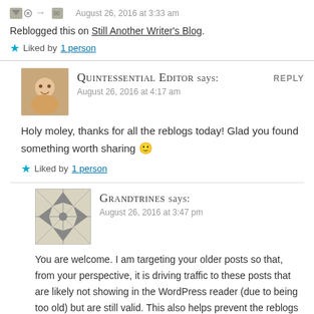August 26, 2016 at 3:33 am
Reblogged this on Still Another Writer's Blog.
Liked by 1 person
Quintessential Editor says:
August 26, 2016 at 4:17 am
Holy moley, thanks for all the reblogs today! Glad you found something worth sharing 🙂
Liked by 1 person
Grandtrines says:
August 26, 2016 at 3:47 pm
You are welcome. I am targeting your older posts so that, from your perspective, it is driving traffic to these posts that are likely not showing in the WordPress reader (due to being too old) but are still valid. This also helps prevent the reblogs from "competing" with your more current material. (That is not an option on my astrology blogs